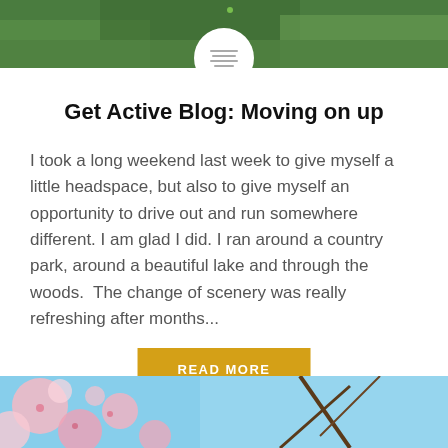[Figure (photo): Green park/field background photo at the top of the page, partially obscured by a white circle logo with horizontal lines]
Get Active Blog: Moving on up
I took a long weekend last week to give myself a little headspace, but also to give myself an opportunity to drive out and run somewhere different. I am glad I did. I ran around a country park, around a beautiful lake and through the woods.  The change of scenery was really refreshing after months...
READ MORE
[Figure (photo): Pink cherry blossom flowers against a blue sky at the bottom of the page]